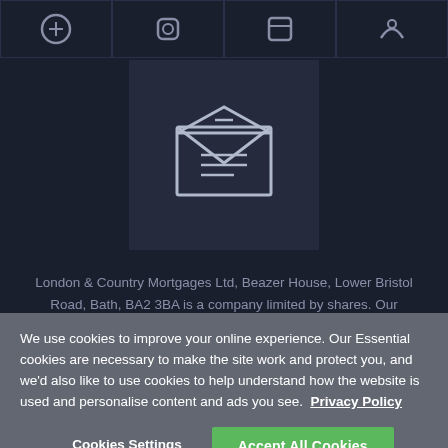[Figure (illustration): Dark navy background with icon grid row at top showing partial social/navigation icons, and a centered envelope/email icon tile below]
London & Country Mortgages Ltd, Beazer House, Lower Bristol Road, Bath, BA2 3BA is a company limited by shares. Our Companies House number is 1988608. We
We use cookies to improve your online experience. Our Essential cookies are necessary to make the site work and protect you, and we'd also like to use cookies to help understand how the website is used and personalise content and ads you see.  Privacy Policy
Cookies Settings
Accept All Cookies